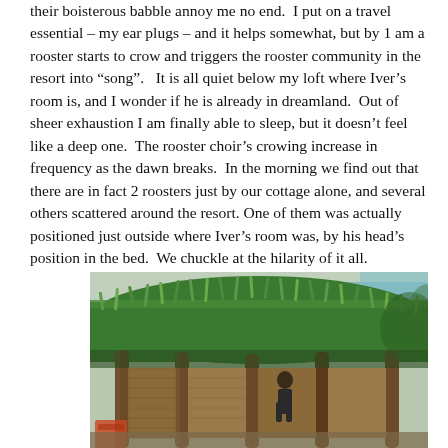their boisterous babble annoy me no end.  I put on a travel essential – my ear plugs – and it helps somewhat, but by 1 am a rooster starts to crow and triggers the rooster community in the resort into "song".   It is all quiet below my loft where Iver's room is, and I wonder if he is already in dreamland.  Out of sheer exhaustion I am finally able to sleep, but it doesn't feel like a deep one.  The rooster choir's crowing increase in frequency as the dawn breaks.  In the morning we find out that there are in fact 2 roosters just by our cottage alone, and several others scattered around the resort. One of them was actually positioned just outside where Iver's room was, by his head's position in the bed.  We chuckle at the hilarity of it all.
[Figure (photo): Outdoor photo of a tropical resort cottage with a thick thatched grass roof, wooden log posts, and a person standing near the structure. Lush green vegetation covers the roof. A blue tarp is visible in the background.]